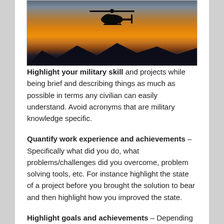[Figure (photo): Military helicopter silhouetted against a dramatic orange and red sunset sky with mountain silhouettes in the background.]
Highlight your military skill and projects while being brief and describing things as much as possible in terms any civilian can easily understand. Avoid acronyms that are military knowledge specific.
Quantify work experience and achievements – Specifically what did you do, what problems/challenges did you overcome, problem solving tools, etc. For instance highlight the state of a project before you brought the solution to bear and then highlight how you improved the state.
Highlight goals and achievements – Depending on the interview style and time given for the interview, it is incumbent upon you to highlight briefly and succinctly your achievements, goals achieved, recognition and